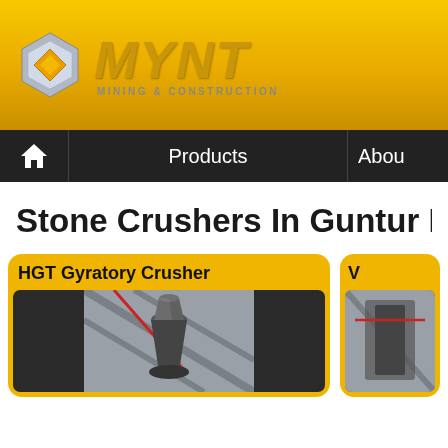[Figure (logo): MYNT Mining & Construction logo with hexagonal icon and metallic gold MYNT text, subtitle MINING & CONSTRUCTION]
[Figure (screenshot): Navigation bar with home icon, Products link, and About link on dark background]
Stone Crushers In Guntur Distri
[Figure (photo): HGT Gyratory Crusher product card with yellow background and photo of gyratory crusher machinery in industrial setting]
[Figure (photo): Partial second product card (title cut off) with yellow background and partial photo of machinery]